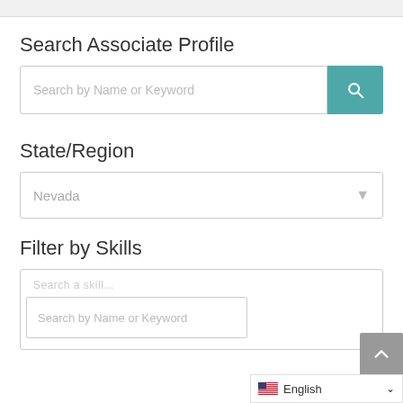Search Associate Profile
[Figure (screenshot): Search input field with placeholder 'Search by Name or Keyword' and a teal search button with magnifying glass icon]
State/Region
[Figure (screenshot): Dropdown select box showing 'Nevada' with a down arrow]
Filter by Skills
[Figure (screenshot): Skills filter box with a search input field showing 'Search by Name or Keyword']
English